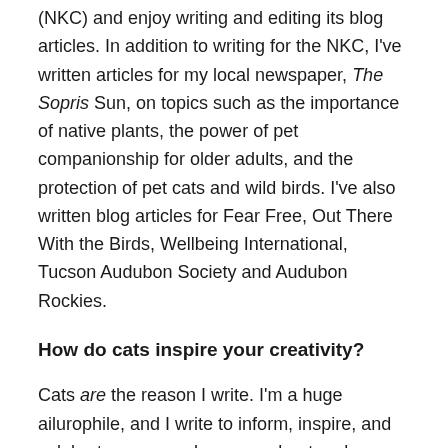(NKC) and enjoy writing and editing its blog articles. In addition to writing for the NKC, I've written articles for my local newspaper, The Sopris Sun, on topics such as the importance of native plants, the power of pet companionship for older adults, and the protection of pet cats and wild birds. I've also written blog articles for Fear Free, Out There With the Birds, Wellbeing International, Tucson Audubon Society and Audubon Rockies.
How do cats inspire your creativity?
Cats are the reason I write. I'm a huge ailurophile, and I write to inform, inspire, and celebrate anyone who cares about and cares for cats, including fosters, pet parents, animal shelters, rescue organizations, Trap-Neuter-Return groups, and the veterinary community. I've loved animals, especially cats, for as long as I can remember.